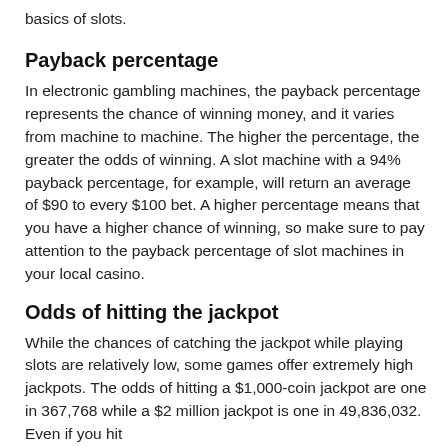basics of slots.
Payback percentage
In electronic gambling machines, the payback percentage represents the chance of winning money, and it varies from machine to machine. The higher the percentage, the greater the odds of winning. A slot machine with a 94% payback percentage, for example, will return an average of $90 to every $100 bet. A higher percentage means that you have a higher chance of winning, so make sure to pay attention to the payback percentage of slot machines in your local casino.
Odds of hitting the jackpot
While the chances of catching the jackpot while playing slots are relatively low, some games offer extremely high jackpots. The odds of hitting a $1,000-coin jackpot are one in 367,768 while a $2 million jackpot is one in 49,836,032. Even if you hit